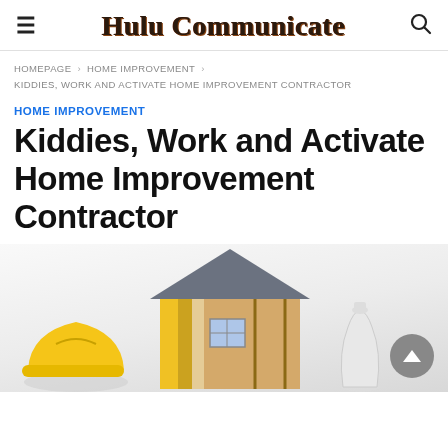Hulu Communicate
HOMEPAGE › HOME IMPROVEMENT › KIDDIES, WORK AND ACTIVATE HOME IMPROVEMENT CONTRACTOR
HOME IMPROVEMENT
Kiddies, Work and Activate Home Improvement Contractor
[Figure (photo): Bottom portion of a home improvement scene showing a yellow hard hat, architectural plans, a house model cross-section with insulation layers, and white objects on a white background.]